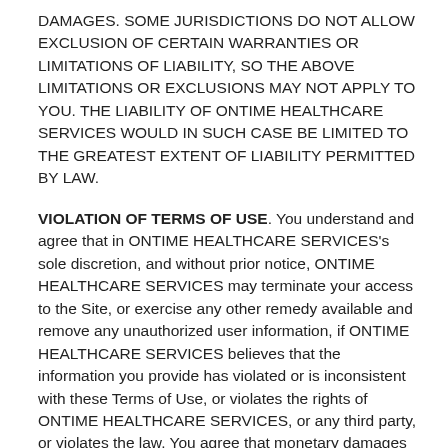DAMAGES. SOME JURISDICTIONS DO NOT ALLOW EXCLUSION OF CERTAIN WARRANTIES OR LIMITATIONS OF LIABILITY, SO THE ABOVE LIMITATIONS OR EXCLUSIONS MAY NOT APPLY TO YOU. THE LIABILITY OF ONTIME HEALTHCARE SERVICES WOULD IN SUCH CASE BE LIMITED TO THE GREATEST EXTENT OF LIABILITY PERMITTED BY LAW.
VIOLATION OF TERMS OF USE. You understand and agree that in ONTIME HEALTHCARE SERVICES's sole discretion, and without prior notice, ONTIME HEALTHCARE SERVICES may terminate your access to the Site, or exercise any other remedy available and remove any unauthorized user information, if ONTIME HEALTHCARE SERVICES believes that the information you provide has violated or is inconsistent with these Terms of Use, or violates the rights of ONTIME HEALTHCARE SERVICES, or any third party, or violates the law. You agree that monetary damages may not provide a sufficient remedy to ONTIME HEALTHCARE SERVICES for violations of these Terms of Use and you